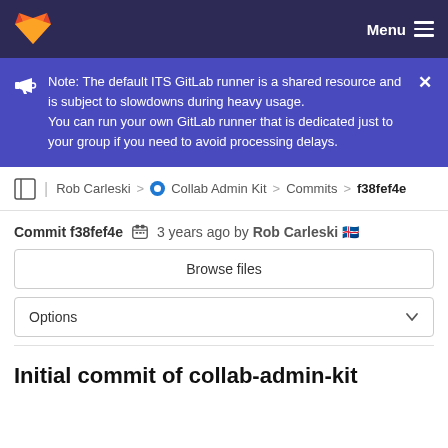Menu
Note: The default ITS GitLab runner is a shared resource and is subject to slowdowns during heavy usage. You can run your own GitLab runner that is dedicated just to your group if you need to avoid processing delays.
Rob Carleski > Collab Admin Kit > Commits > f38fef4e
Commit f38fef4e  3 years ago by Rob Carleski 🇮🇸
Browse files
Options
Initial commit of collab-admin-kit